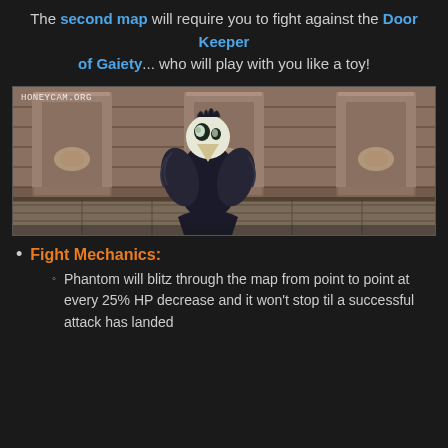The second map will require you to fight against the Door Keeper of Gaiety... who will play with you like a toy!
[Figure (screenshot): Game screenshot showing a dark bird-like creature with a plague doctor mask standing in a stone corridor with decorative columns. Watermark 'HONEYCAM.ORG' in top-left.]
Fight Mechanics:
Phantom will blitz through the map from point to point at every 25% HP decrease and it won't stop til a successful attack has landed